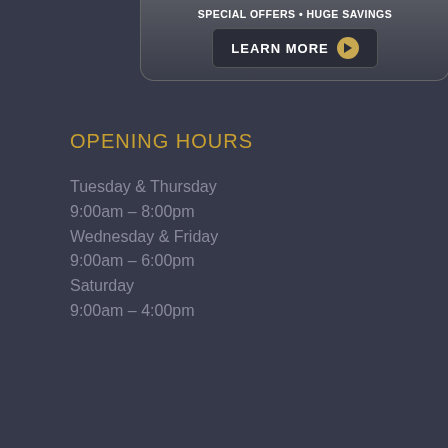[Figure (screenshot): Dark banner at top with text SPECIAL OFFERS • HUGE SAVINGS and a LEARN MORE button with play icon]
OPENING HOURS
Tuesday & Thursday
9:00am – 8:00pm
Wednesday & Friday
9:00am – 6:00pm
Saturday
9:00am – 4:00pm
[Figure (illustration): Red button with shopping cart icon and text Buy Gift Certificates]
[Figure (illustration): Red button with payment icon and text Make a Payment]